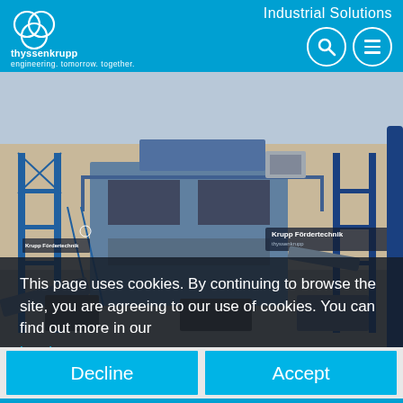Industrial Solutions
[Figure (photo): Industrial facility with blue steel scaffolding and Krupp Fördertechnik branded machinery at a mining or processing site]
This page uses cookies. By continuing to browse the site, you are agreeing to our use of cookies. You can find out more in our legal notes.
Decline
Accept